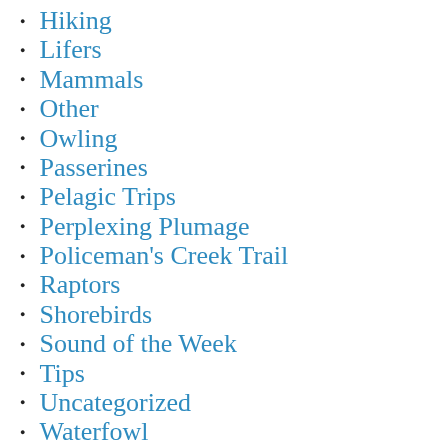Hiking
Lifers
Mammals
Other
Owling
Passerines
Pelagic Trips
Perplexing Plumage
Policeman's Creek Trail
Raptors
Shorebirds
Sound of the Week
Tips
Uncategorized
Waterfowl
What Bird Wednesday